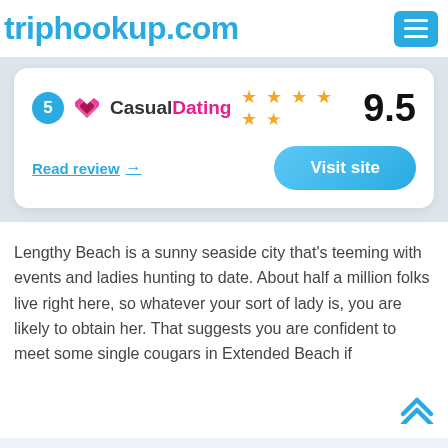triphookup.com
[Figure (screenshot): A rating card showing rank 5, CasualDating logo with heart icon, 5 gold stars, score 9.5, a 'Read review' link with arrow, and a 'Visit site' button]
Lengthy Beach is a sunny seaside city that's teeming with events and ladies hunting to date. About half a million folks live right here, so whatever your sort of lady is, you are likely to obtain her. That suggests you are confident to meet some single cougars in Extended Beach if